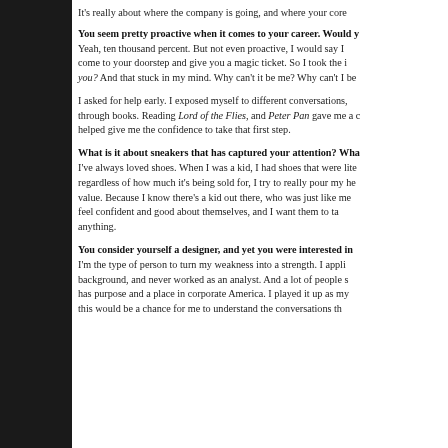It's really about where the company is going, and where your core
You seem pretty proactive when it comes to your career. Would y Yeah, ten thousand percent. But not even proactive, I would say I come to your doorstep and give you a magic ticket. So I took the i you? And that stuck in my mind. Why can't it be me? Why can't I be
I asked for help early. I exposed myself to different conversations, through books. Reading Lord of the Flies, and Peter Pan gave me a d helped give me the confidence to take that first step.
What is it about sneakers that has captured your attention? What I've always loved shoes. When I was a kid, I had shoes that were lite regardless of how much it's being sold for, I try to really pour my he value. Because I know there's a kid out there, who was just like me feel confident and good about themselves, and I want them to ta anything.
You consider yourself a designer, and yet you were interested in I'm the type of person to turn my weakness into a strength. I appli background, and never worked as an analyst. And a lot of people s has purpose and a place in corporate America. I played it up as my this would be a chance for me to understand the conversations th